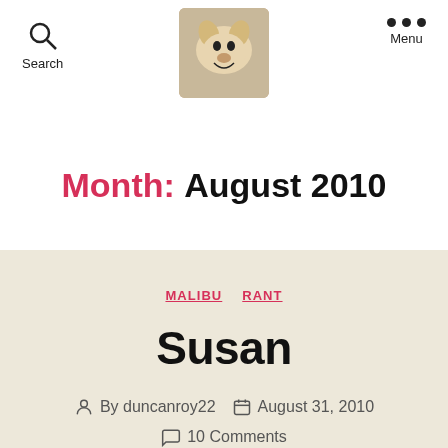Search | [dog photo logo] | Menu
Month: August 2010
MALIBU  RANT
Susan
By duncanroy22   August 31, 2010   10 Comments